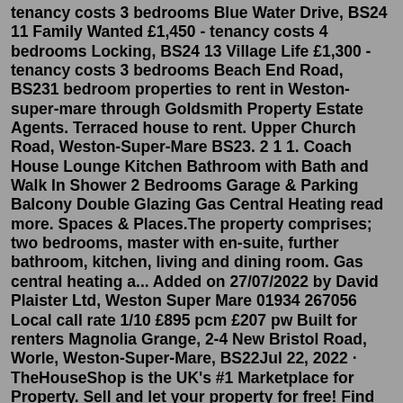tenancy costs 3 bedrooms Blue Water Drive, BS24 11 Family Wanted £1,450 - tenancy costs 4 bedrooms Locking, BS24 13 Village Life £1,300 - tenancy costs 3 bedrooms Beach End Road, BS231 bedroom properties to rent in Weston-super-mare through Goldsmith Property Estate Agents. Terraced house to rent. Upper Church Road, Weston-Super-Mare BS23. 2 1 1. Coach House Lounge Kitchen Bathroom with Bath and Walk In Shower 2 Bedrooms Garage & Parking Balcony Double Glazing Gas Central Heating read more. Spaces & Places.The property comprises; two bedrooms, master with en-suite, further bathroom, kitchen, living and dining room. Gas central heating a... Added on 27/07/2022 by David Plaister Ltd, Weston Super Mare 01934 267056 Local call rate 1/10 £895 pcm £207 pw Built for renters Magnolia Grange, 2-4 New Bristol Road, Worle, Weston-Super-Mare, BS22Jul 22, 2022 · TheHouseShop is the UK's #1 Marketplace for Property. Sell and let your property for free! Find